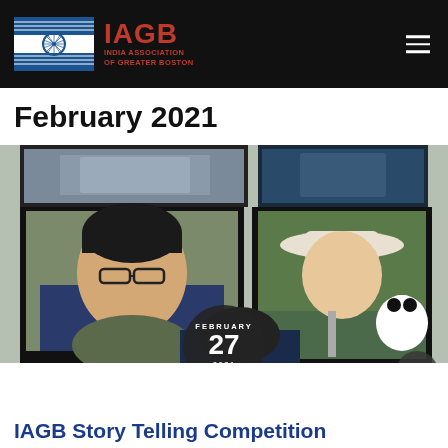IAGB India Association of Greater Boston
February 2021
[Figure (photo): Composite film-strip style photo collage showing multiple people, with date badge overlay reading FEBRUARY 27 2021]
IAGB Story Telling Competition